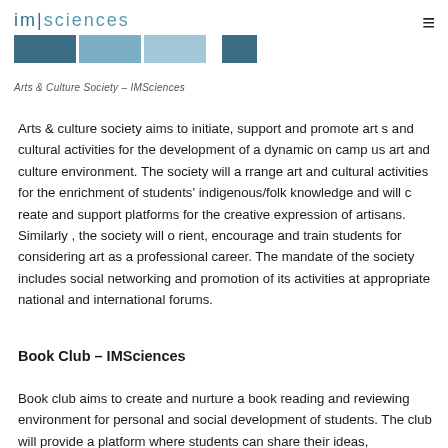im|sciences
Arts & Culture Society – IMSciences
Arts & culture society aims to initiate, support and promote art s and cultural activities for the development of a dynamic on camp us art and culture environment. The society will a rrange art and cultural activities for the enrichment of students' indigenous/folk knowledge and will c reate and support platforms for the creative expression of artisans. Similarly , the society will o rient, encourage and train students for considering art as a professional career. The mandate of the society includes social networking and promotion of its activities at appropriate national and international forums.
Book Club – IMSciences
Book club aims to create and nurture a book reading and reviewing environment for personal and social development of students. The club will provide a platform where students can share their ideas,